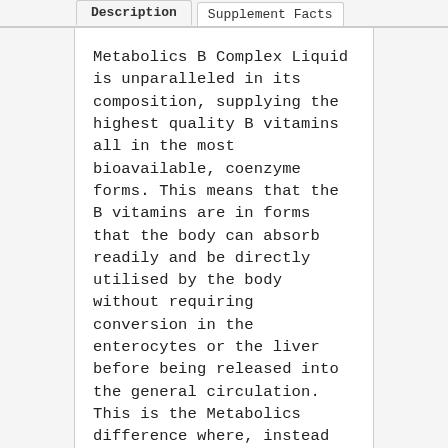Description | Supplement Facts
Metabolics B Complex Liquid is unparalleled in its composition, supplying the highest quality B vitamins all in the most bioavailable, coenzyme forms. This means that the B vitamins are in forms that the body can absorb readily and be directly utilised by the body without requiring conversion in the enterocytes or the liver before being released into the general circulation. This is the Metabolics difference where, instead of using cheaper forms of vitamins that need to be converted to their active coenzymes, the B Complex Liquid gets to work right away.